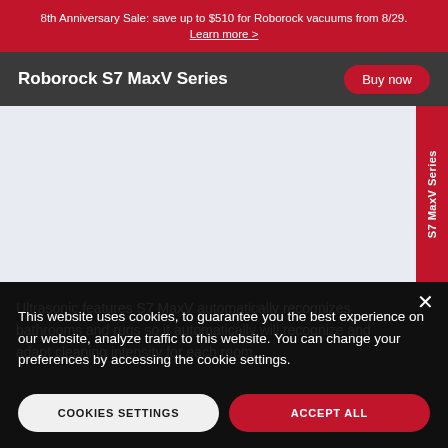8th Anniversary Sale: save up to $510 for Roborock vacuums from 8/29.
Learn more >
Roborock S7 MaxV Series
[Figure (screenshot): Product hero image area with light blue-gray background and a red vertical side tab labeled 'S7 MaxV Series']
Ultrasonic features S7 MaxV automatically recognizes bathrooms and rugs so it automatically will recognize and adapt cleaning intensity for each room.
This website uses cookies, to guarantee you the best experience on our website, analyze traffic to this website. You can change your preferences by accessing the cookie settings.